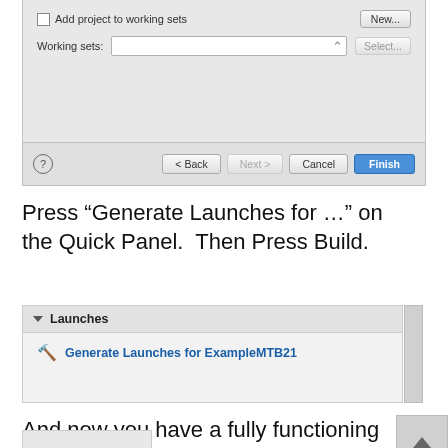[Figure (screenshot): Eclipse dialog screenshot showing 'Add project to working sets' checkbox, Working sets input field, New... button, Select... button, and bottom bar with Back, Next, Cancel, and Finish buttons]
Press “Generate Launches for …” on the Quick Panel.  Then Press Build.
[Figure (screenshot): Eclipse Quick Panel showing Launches section with 'Generate Launches for ExampleMTB21' link]
And now you have a fully functioning Modus Toolbox Project inside of your Eclipse worksp